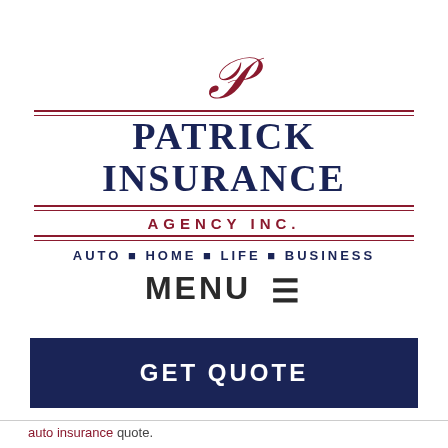[Figure (logo): Patrick Insurance Agency Inc. logo with decorative P monogram, double horizontal rules in crimson, main text in navy blue, agency name in crimson, and services list AUTO, HOME, LIFE, BUSINESS in navy]
MENU ≡
GET QUOTE
auto insurance quote.